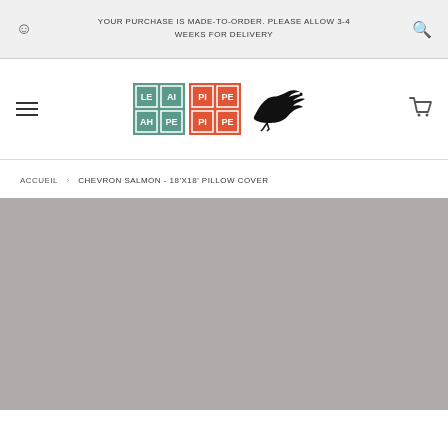YOUR PURCHASE IS MADE-TO-ORDER. PLEASE ALLOW 3-4 WEEKS FOR DELIVERY
[Figure (logo): Leah Pipe brand logo with teal and orange tiled letter blocks and a black crow silhouette]
ACCUEIL › CHEVRON SALMON - 18'X18' PILLOW COVER
[Figure (photo): Product image placeholder in gray]